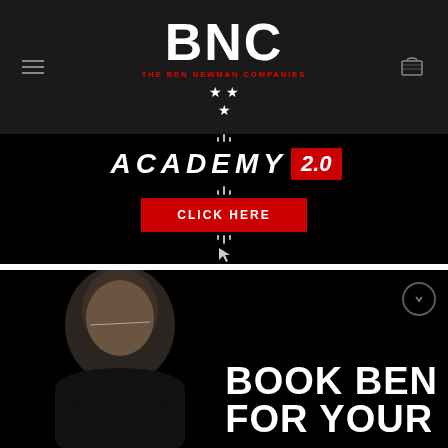BNC — The Ben Newman Companies
[Figure (screenshot): Academy 2.0 promotional banner with CLICK HERE red button on black background]
[Figure (photo): Man smiling wearing glasses in black shirt with text BOOK BEN FOR YOUR overlaid in white bold uppercase letters on black background]